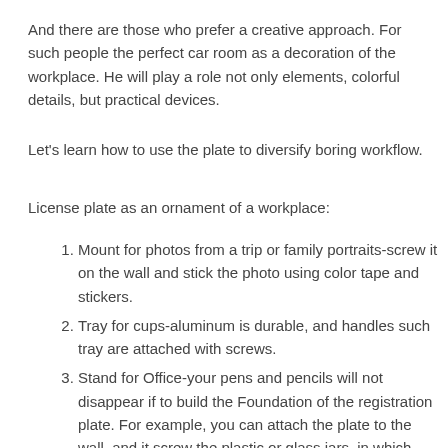And there are those who prefer a creative approach. For such people the perfect car room as a decoration of the workplace. He will play a role not only elements, colorful details, but practical devices.
Let’s learn how to use the plate to diversify boring workflow.
License plate as an ornament of a workplace:
Mount for photos from a trip or family portraits-screw it on the wall and stick the photo using color tape and stickers.
Tray for cups-aluminum is durable, and handles such tray are attached with screws.
Stand for Office-your pens and pencils will not disappear if to build the Foundation of the registration plate. For example, you can attach the plate to the wall, and it screw the plastic or glass jars, in which you can add stationery.